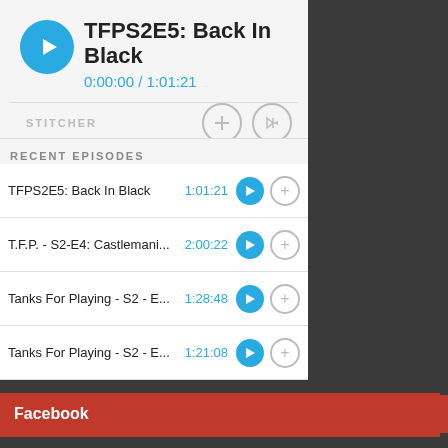TFPS2E5: Back In Black
0:00:00 / 1:01:21
RECENT EPISODES
TFPS2E5: Back In Black  1:01:21
T.F.P. - S2-E4: Castlemani...  2:00:22
Tanks For Playing - S2 - E...  1:28:48
Tanks For Playing - S2 - E...  1:21:08
Facebook
Follow us on Twitter
Tweets from @PopSchmear  Follow